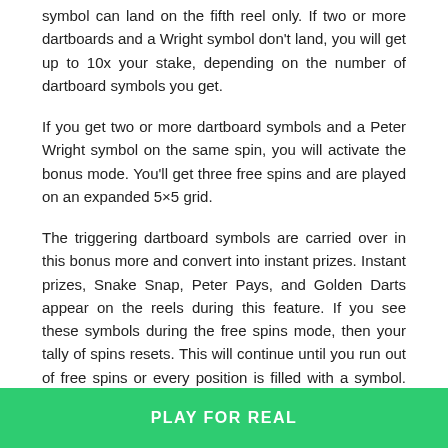symbol can land on the fifth reel only. If two or more dartboards and a Wright symbol don't land, you will get up to 10x your stake, depending on the number of dartboard symbols you get.
If you get two or more dartboard symbols and a Peter Wright symbol on the same spin, you will activate the bonus mode. You'll get three free spins and are played on an expanded 5×5 grid.
The triggering dartboard symbols are carried over in this bonus more and convert into instant prizes. Instant prizes, Snake Snap, Peter Pays, and Golden Darts appear on the reels during this feature. If you see these symbols during the free spins mode, then your tally of spins resets. This will continue until you run out of free spins or every position is filled with a symbol. Here are what the symbols are worth:
PLAY FOR REAL